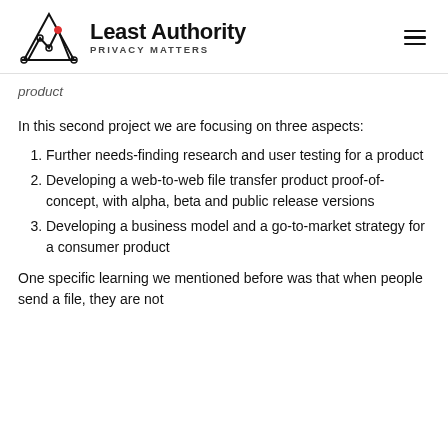Least Authority — PRIVACY MATTERS
product
In this second project we are focusing on three aspects:
Further needs-finding research and user testing for a product
Developing a web-to-web file transfer product proof-of-concept, with alpha, beta and public release versions
Developing a business model and a go-to-market strategy for a consumer product
One specific learning we mentioned before was that when people send a file, they are not